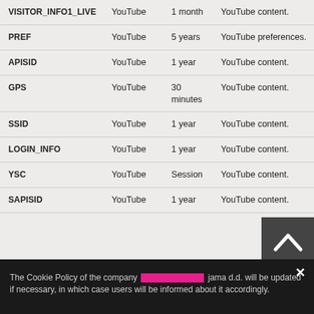| VISITOR_INFO1_LIVE | YouTube | 1 month | YouTube content. |
| PREF | YouTube | 5 years | YouTube preferences. |
| APISID | YouTube | 1 year | YouTube content. |
| GPS | YouTube | 30 minutes | YouTube content. |
| SSID | YouTube | 1 year | YouTube content. |
| LOGIN_INFO | YouTube | 1 year | YouTube content. |
| YSC | YouTube | Session | YouTube content. |
| SAPISID | YouTube | 1 year | YouTube content. |
The Cookie Policy of the company Botteinada jama d.d. will be updated if necessary, in which case users will be informed about it accordingly.